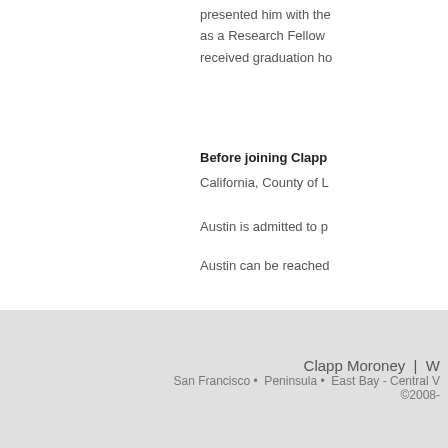presented him with the as a Research Fellow received graduation ho
Before joining Clapp
California, County of L
Austin is admitted to p
Austin can be reached
Clapp Moroney | W
San Francisco • Peninsula • East Bay - Central V
©2008-